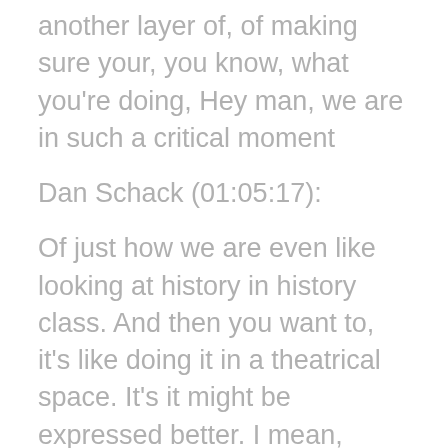another layer of, of making sure your, you know, what you're doing, Hey man, we are in such a critical moment
Dan Schack (01:05:17):
Of just how we are even like looking at history in history class. And then you want to, it's like doing it in a theatrical space. It's it might be expressed better. I mean, we're grappling with, you know, the way that we even were taught these narratives and how all these narratives have, have focal points or have subjectivity baked into them. And what truth is versus truth. It's like we're at a such a weird time, and I think that it's, it's a better time...